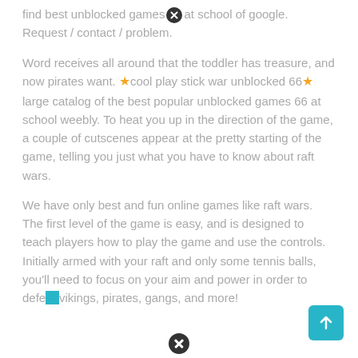find best unblocked games at school of google. Request / contact / problem.
Word receives all around that the toddler has treasure, and now pirates want. ★cool play stick war unblocked 66★ large catalog of the best popular unblocked games 66 at school weebly. To heat you up in the direction of the game, a couple of cutscenes appear at the pretty starting of the game, telling you just what you have to know about raft wars.
We have only best and fun online games like raft wars. The first level of the game is easy, and is designed to teach players how to play the game and use the controls. Initially armed with your raft and only some tennis balls, you'll need to focus on your aim and power in order to defeat vikings, pirates, gangs, and more!